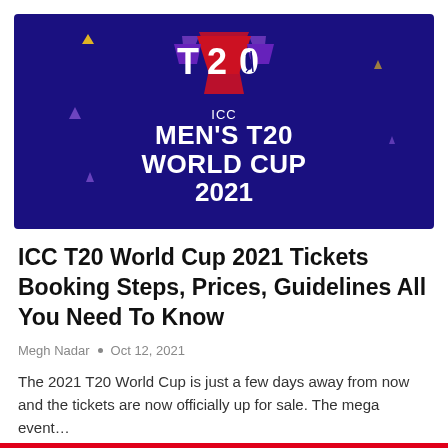[Figure (illustration): ICC Men's T20 World Cup 2021 official logo on a dark navy/purple background with decorative triangles in yellow, purple, and red. The T20 logo appears at top with a cricket ball, followed by the text ICC MEN'S T20 WORLD CUP 2021 in white bold lettering.]
ICC T20 World Cup 2021 Tickets Booking Steps, Prices, Guidelines All You Need To Know
Megh Nadar • Oct 12, 2021
The 2021 T20 World Cup is just a few days away from now and the tickets are now officially up for sale. The mega event…